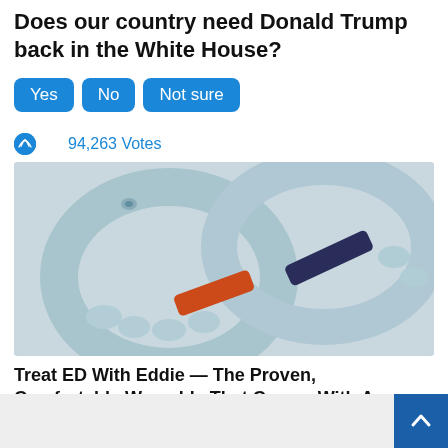Does our country need Donald Trump back in the White House?
Yes
No
Not sure
94,263 Votes
[Figure (photo): Close-up photo of light blue flexible wearable device rings with orange and navy straps]
Treat ED With Eddie — The Proven, Comfortable Wearable That Comes With A Satisfaction Guarantee
86,710